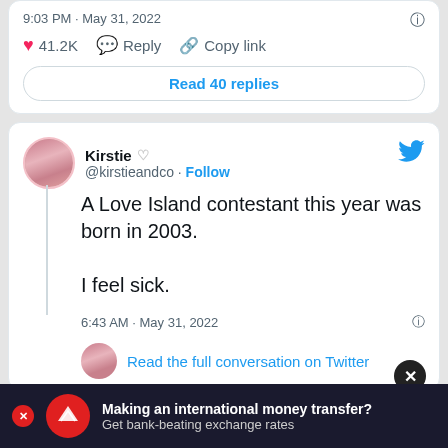9:03 PM · May 31, 2022
41.2K  Reply  Copy link
Read 40 replies
Kirstie @kirstieandco · Follow
A Love Island contestant this year was born in 2003.

I feel sick.
6:43 AM · May 31, 2022
Read the full conversation on Twitter
112.9K  Reply  Copy link
Making an international money transfer? Get bank-beating exchange rates